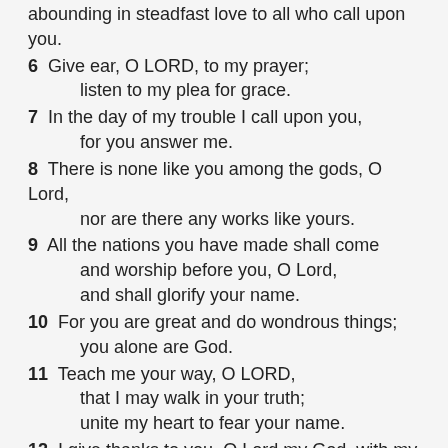abounding in steadfast love to all who call upon you.
6 Give ear, O LORD, to my prayer;
    listen to my plea for grace.
7 In the day of my trouble I call upon you,
    for you answer me.
8 There is none like you among the gods, O Lord,
    nor are there any works like yours.
9 All the nations you have made shall come
    and worship before you, O Lord,
    and shall glorify your name.
10 For you are great and do wondrous things;
    you alone are God.
11 Teach me your way, O LORD,
    that I may walk in your truth;
    unite my heart to fear your name.
12 I give thanks to you, O Lord my God, with my whole heart,
    and I will glorify your name forever.
13 For great is your steadfast love toward me;
    you have delivered my soul from the depths of Sheol.
14 O God, insolent men have risen up against me;